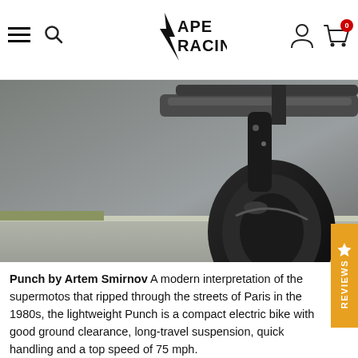APE RACING — website header with hamburger menu, search, logo, user icon, cart (0)
[Figure (photo): Close-up photograph of a motorcycle tire, exhaust pipe, and road surface — dark tones, asphalt texture visible]
Punch by Artem Smirnov A modern interpretation of the supermotos that ripped through the streets of Paris in the 1980s, the lightweight Punch is a compact electric bike with good ground clearance, long-travel suspension, quick handling and a top speed of 75 mph.
[Figure (photo): Close-up photograph of the Punch electric motorcycle showing the PUNCH logo on the fairing and the dark seat area with white/light frame elements]